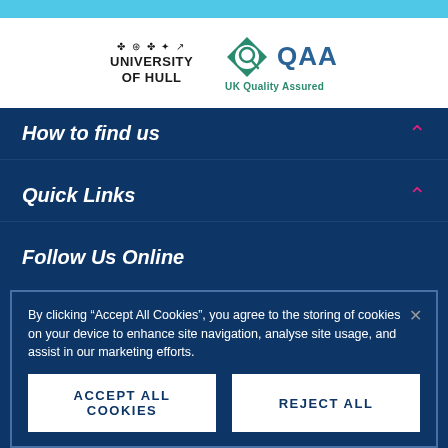[Figure (logo): University of Hull logo with heraldic symbols and text 'UNIVERSITY OF HULL']
[Figure (logo): QAA diamond logo with text 'QAA' and 'UK Quality Assured']
How to find us
Quick Links
Follow Us Online
By clicking “Accept All Cookies”, you agree to the storing of cookies on your device to enhance site navigation, analyse site usage, and assist in our marketing efforts.
Accept All Cookies
Reject All